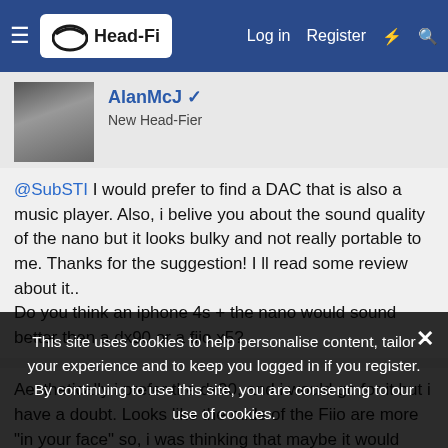Head-Fi | Log in | Register
AlanMcJ
New Head-Fier
@SubSTI I would prefer to find a DAC that is also a music player. Also, i belive you about the sound quality of the nano but it looks bulky and not really portable to me. Thanks for the suggestion! I ll read some review about it..
Do you think an iphone 4s + the nano would sound better then a dx90 or a fiio x5?
Aesthetically i prefer the dx90, and i would go for it but i have a doubt. Looks like the mids of the Fiio are more "in your face" so, i was thinking that maybe it would help the slightly recessed mids of the Fidelio X1.
On the other hand the dx90 has a wider soundstage and clarity that would also help.
This site uses cookies to help personalise content, tailor your experience and to keep you logged in if you register.
By continuing to use this site, you are consenting to our use of cookies.